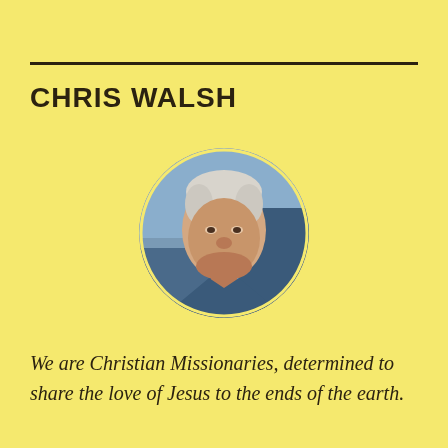CHRIS WALSH
[Figure (photo): Circular headshot photo of Chris Walsh, an older man with white/silver hair wearing a blue jacket, against an outdoor background.]
We are Christian Missionaries, determined to share the love of Jesus to the ends of the earth.